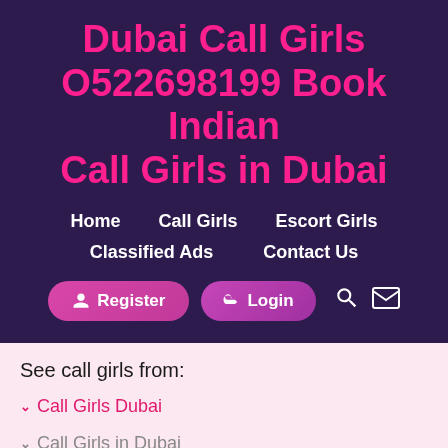Dubai Call Girls O522698199 Book Indian Call Girls in Dubai
Home
Call Girls
Escort Girls
Classified Ads
Contact Us
Register
Login
See call girls from:
Call Girls Dubai
Call Girls in Dubai
WhatsApp us +971522698199
Dubai Call Girls Services